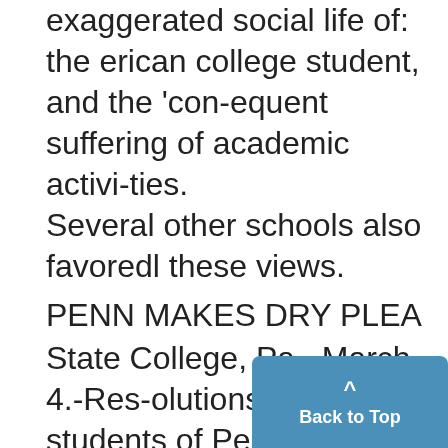exaggerated social life of the erican college student, and the 'consequent suffering of academic activities. Several other schools also favored these views.
PENN MAKES DRY PLEA
State College, Pa., March 4.-Resolutions urging all students of Penn State not to violate the eighteenth amendment in any way were unanimously passed by the 50 members of the student council here. This i thought to be the most sweepi